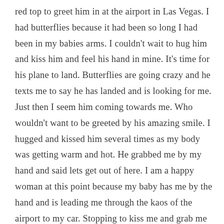red top to greet him in at the airport in Las Vegas. I had butterflies because it had been so long I had been in my babies arms. I couldn't wait to hug him and kiss him and feel his hand in mine. It's time for his plane to land. Butterflies are going crazy and he texts me to say he has landed and is looking for me. Just then I seem him coming towards me. Who wouldn't want to be greeted by his amazing smile. I hugged and kissed him several times as my body was getting warm and hot. He grabbed me by my hand and said lets get out of here. I am a happy woman at this point because my baby has me by the hand and is leading me through the kaos of the airport to my car. Stopping to kiss me and grab me firmly to show me how much he missed me. We get into the car and I of course made him drive. I had plans for him lol. I lifted up my skirt and sat down in the seat and